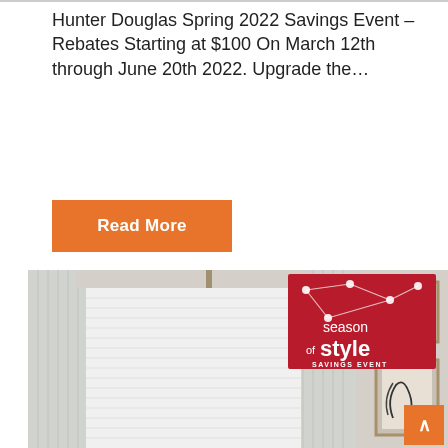Hunter Douglas Spring 2022 Savings Event – Rebates Starting at $100 On March 12th through June 20th 2022. Upgrade the...
Read More
[Figure (photo): Photo of window blinds/shades installed on a window with sheer curtains on either side, and a red 'season of style SAVINGS EVENT' promotional sign in the upper right corner. Two framed art pieces visible on the right wall. Orange scroll-to-top button in bottom right.]